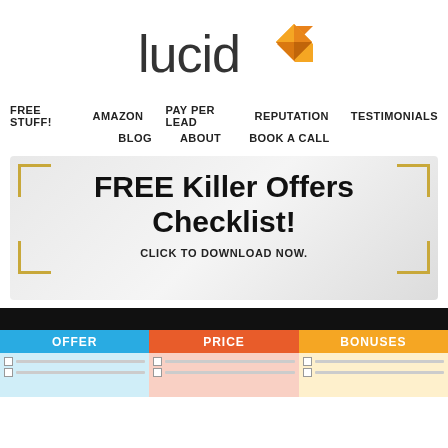[Figure (logo): LucidX logo — text 'lucid' in dark gray with orange X-shaped diamond icon to the right]
FREE STUFF!   AMAZON   PAY PER LEAD   REPUTATION   TESTIMONIALS
BLOG   ABOUT   BOOK A CALL
FREE Killer Offers Checklist!
CLICK TO DOWNLOAD NOW.
| OFFER | PRICE | BONUSES |
| --- | --- | --- |
|  |  |  |